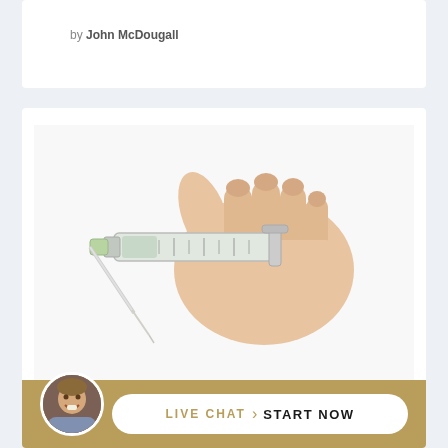by John McDougall
[Figure (photo): A hand holding a medical syringe/needle pointing to the lower left, on a white background]
SEO
HELP! Internet Marketing Is a Big Pain in the Ass!
[Figure (photo): Circular avatar photo of a smiling man in front of a brick wall]
LIVE CHAT  START NOW